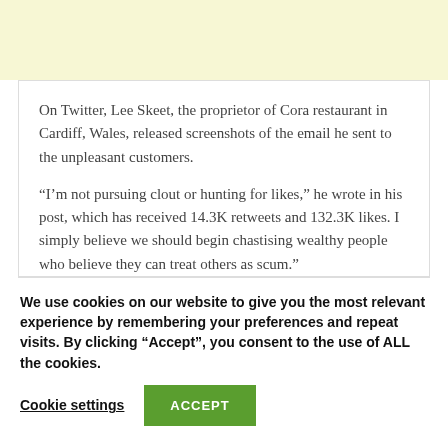[Figure (screenshot): Yellow/cream top banner area]
On Twitter, Lee Skeet, the proprietor of Cora restaurant in Cardiff, Wales, released screenshots of the email he sent to the unpleasant customers.
“I’m not pursuing clout or hunting for likes,” he wrote in his post, which has received 14.3K retweets and 132.3K likes. I simply believe we should begin chastising wealthy people who believe they can treat others as scum.”
We use cookies on our website to give you the most relevant experience by remembering your preferences and repeat visits. By clicking “Accept”, you consent to the use of ALL the cookies.
Cookie settings
ACCEPT